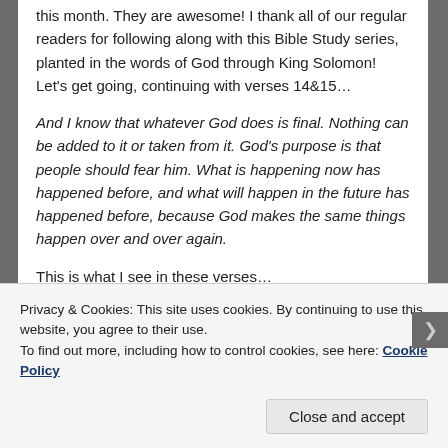this month. They are awesome! I thank all of our regular readers for following along with this Bible Study series, planted in the words of God through King Solomon! Let's get going, continuing with verses 14&15…
And I know that whatever God does is final. Nothing can be added to it or taken from it. God's purpose is that people should fear him. What is happening now has happened before, and what will happen in the future has happened before, because God makes the same things happen over and over again.
This is what I see in these verses…
God's has the last say and things will happen exactly as
Privacy & Cookies: This site uses cookies. By continuing to use this website, you agree to their use.
To find out more, including how to control cookies, see here: Cookie Policy
Close and accept